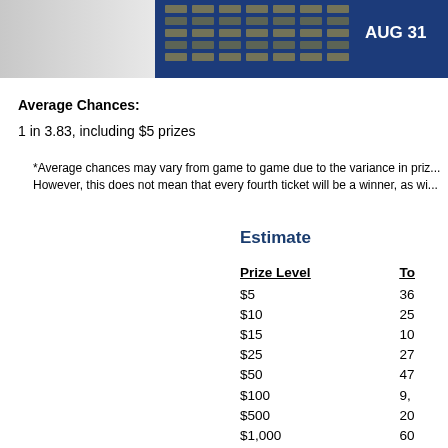[Figure (photo): Partial view of a lottery scratch ticket with text 'AUG 31' visible on dark blue background]
Average Chances:
1 in 3.83, including $5 prizes
*Average chances may vary from game to game due to the variance in priz... However, this does not mean that every fourth ticket will be a winner, as wi...
Estimate
| Prize Level | To... |
| --- | --- |
| $5 | 36... |
| $10 | 25... |
| $15 | 10... |
| $25 | 27... |
| $50 | 47... |
| $100 | 9,... |
| $500 | 20... |
| $1,000 | 60... |
| $5,000 | 15... |
| $20,000 | 3... |